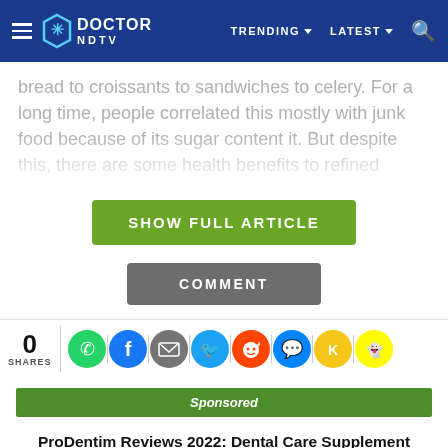DOCTOR NDTV | TRENDING | LATEST
bread to croissants to sandwiches to celery. For a long time, people correlated this mostly with junk food because of its sugar content it. But despite this, there are some health benefits to refined sugar.
SHOW FULL ARTICLE
COMMENT
0 SHARES
Sponsored
ProDentim Reviews 2022: Dental Care Supplement Ingredients, Where to Buy?